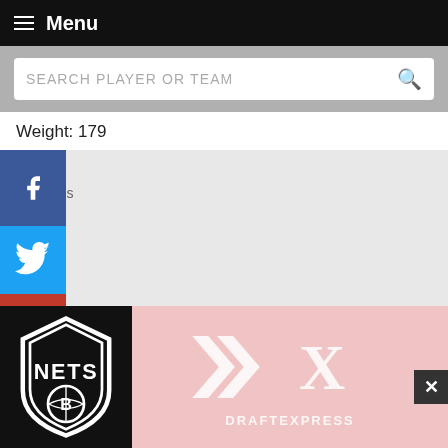Menu
SEARCH PLAYER OR TEAM
Weight: 179
75 ...s
3... ounds
18... s
13...
—2
[Figure (logo): Brooklyn Nets shield logo on black background]
[Figure (logo): DraftExpress logo (DX chevron mark with DRAFTEXPRESS text) on pink background]
tally
Fast credit card payoff
Download Now →
NETS